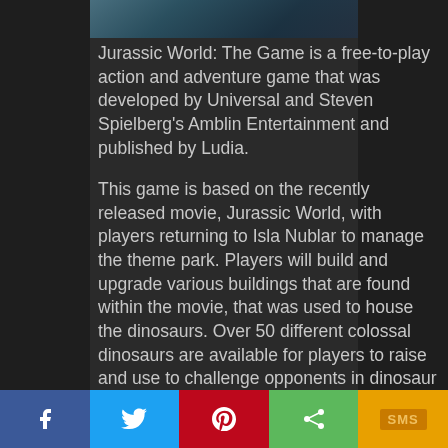[Figure (screenshot): Top portion of a game screenshot showing Jurassic World: The Game imagery with dark teal/blue tones]
Jurassic World: The Game is a free-to-play action and adventure game that was developed by Universal and Steven Spielberg's Amblin Entertainment and published by Ludia.
This game is based on the recently released movie, Jurassic World, with players returning to Isla Nublar to manage the theme park. Players will build and upgrade various buildings that are found within the movie, that was used to house the dinosaurs. Over 50 different colossal dinosaurs are available for players to raise and use to challenge opponents in dinosaur battles.
Players can make an in-app purchase to upgrade their theme park. But then again, why waste
[Figure (screenshot): Social sharing bar at the bottom with Facebook, Twitter, Pinterest, Share, and SMS buttons]